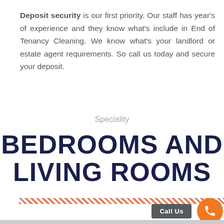Deposit security is our first priority. Our staff has year's of experience and they know what's include in End of Tenancy Cleaning. We know what's your landlord or estate agent requirements. So call us today and secure your deposit.
Speciality
BEDROOMS AND LIVING ROOMS